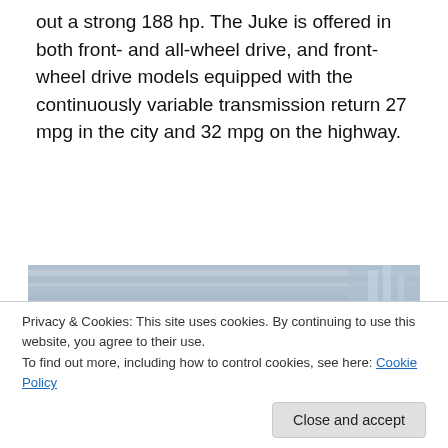out a strong 188 hp. The Juke is offered in both front- and all-wheel drive, and front-wheel drive models equipped with the continuously variable transmission return 27 mpg in the city and 32 mpg on the highway.
[Figure (photo): A red Nissan Juke compact crossover SUV photographed at an angle from the front-left, with motion blur in the background suggesting speed. The car has distinctive round headlights and a Nissan badge on the grille.]
Privacy & Cookies: This site uses cookies. By continuing to use this website, you agree to their use.
To find out more, including how to control cookies, see here: Cookie Policy
[Close and accept]